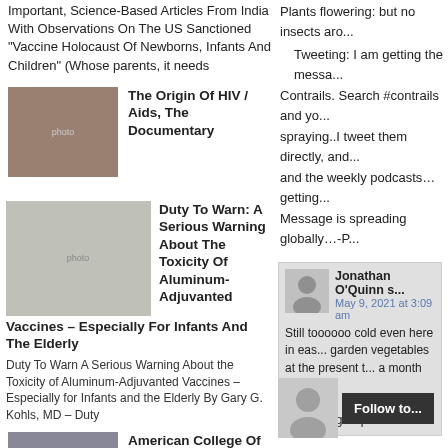Important, Science-Based Articles From India With Observations On The US Sanctioned "Vaccine Holocaust Of Newborns, Infants And Children" (Whose parents, it needs
Plants flowering: but no insects aro...
Tweeting: I am getting the messa...
Contrails. Search #contrails and yo...
spraying..I tweet them directly, and...
and the weekly podcasts… getting...
Message is spreading globally…-P...
[Figure (photo): Photo thumbnail for HIV/Aids documentary article]
The Origin Of HIV / Aids, The Documentary
[Figure (photo): Photo thumbnail showing hand holding syringe for aluminum-adjuvanted vaccines article]
Duty To Warn: A Serious Warning About The Toxicity Of Aluminum-Adjuvanted Vaccines – Especially For Infants And The Elderly
Duty To Warn A Serious Warning About the Toxicity of Aluminum-Adjuvanted Vaccines – Especially for Infants and the Elderly By Gary G. Kohls, MD – Duty
[Figure (photo): Commenter avatar placeholder for Jonathan O'Quinn]
Jonathan O'Quinn s... May 9, 2021 at 3:09 am
Still toooooo cold even here in eas... garden vegetables at the present t... a month ago. Something's up…
[Figure (photo): Photo thumbnail of group of children/people for American College of Pediatricians article]
American College Of Pediatricians Latest To Warn Of Gardasil HPV Vaccine Dangers
[Figure (photo): Avatar placeholder for second commenter]
Follow to...